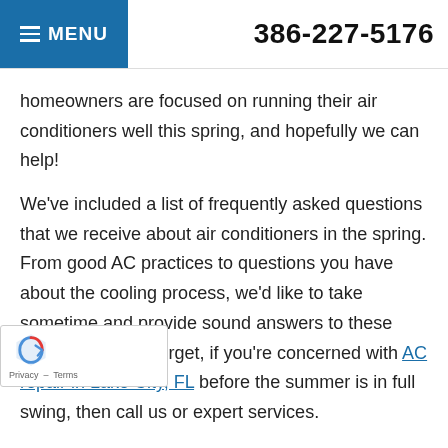MENU | 386-227-5176
homeowners are focused on running their air conditioners well this spring, and hopefully we can help!
We've included a list of frequently asked questions that we receive about air conditioners in the spring. From good AC practices to questions you have about the cooling process, we'd like to take sometime and provide sound answers to these questions. Don't forget, if you're concerned with AC repair in Lake City, FL before the summer is in full swing, then call us or expert services.
So, let's get started!